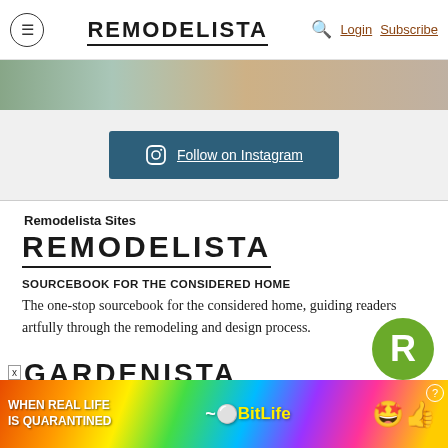≡ REMODELISTA 🔍 Login Subscribe
[Figure (photo): Partial photo strip at top of Instagram feed section]
Follow on Instagram
Remodelista Sites
REMODELISTA
SOURCEBOOK FOR THE CONSIDERED HOME
The one-stop sourcebook for the considered home, guiding readers artfully through the remodeling and design process.
GARDENISTA
[Figure (screenshot): BitLife advertisement banner: WHEN REAL LIFE IS QUARANTINED with colorful gradient background and emoji]